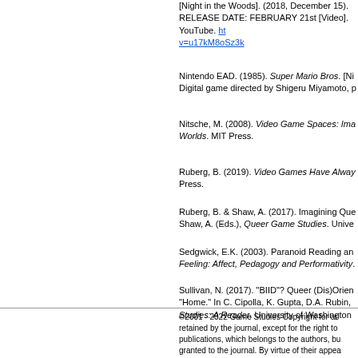[Night in the Woods]. (2018, December 15). RELEASE DATE: FEBRUARY 21st [Video]. YouTube. https://www.youtube.com/watch?v=u17kM8oSz3k
Nintendo EAD. (1985). Super Mario Bros. [Nintendo Entertainment System]. Digital game directed by Shigeru Miyamoto, published by Nintendo.
Nitsche, M. (2008). Video Game Spaces: Image, Play, and Architecture in 3D Game Worlds. MIT Press.
Ruberg, B. (2019). Video Games Have Always Been Queer. New York University Press.
Ruberg, B. & Shaw, A. (2017). Imagining Queer Game Studies. In B. Ruberg & A. Shaw, A. (Eds.), Queer Game Studies. University of Minnesota Press.
Sedgwick, E.K. (2003). Paranoid Reading and Reparative Reading. Touching Feeling: Affect, Pedagogy and Performativity. Duke University Press.
Sullivan, N. (2017). "BIID"? Queer (Dis)Orientations and the Phenomenology of "Home." In C. Cipolla, K. Gupta, D.A. Rubin, & A. Willey (Eds.), Queer Feminist Science Studies: A Reader. University of Washington Press.
Thacker, E. (2011). In the Dust of This Planet. Horror of Philosophy, Vol. 1. Zero Books.
©2001 - 2022 Game Studies Copyright for articles published in Game Studies is retained by the journal, except for the right to republish in collections and similar publications, which belongs to the authors, but with first publication rights granted to the journal. By virtue of their appearance in this open access journal, articles are free to use, with proper attribution, in educational and other non-commercial settings.